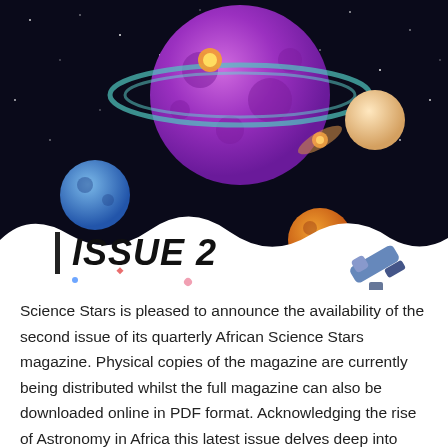[Figure (illustration): Space-themed illustration with planets, stars, galaxies, a telescope, and colorful cosmic objects on a dark background with white wavy bottom edge. Features a large purple planet with rings, blue and orange planets, and a telescope in the lower right.]
ISSUE 2
Science Stars is pleased to announce the availability of the second issue of its quarterly African Science Stars magazine. Physical copies of the magazine are currently being distributed whilst the full magazine can also be downloaded online in PDF format. Acknowledging the rise of Astronomy in Africa this latest issue delves deep into African Science. Read more